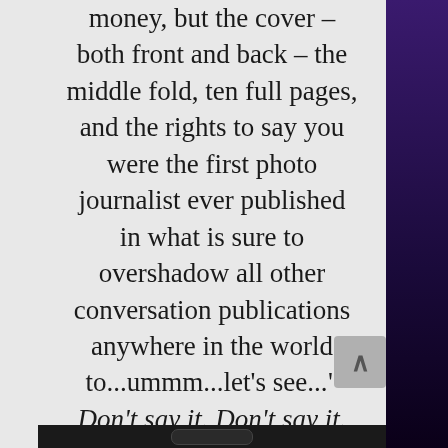money, but the cover – both front and back – the middle fold, ten full pages, and the rights to say you were the first photo journalist ever published in what is sure to overshadow all other conversation publications anywhere in the world to...ummm...let's see..." Don't say it. Don't say it. Don't you dare say her... "Vanessa Vandermere? Just to pu[...]me outta